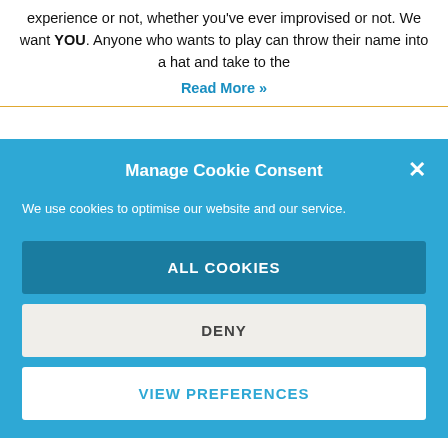experience or not, whether you've ever improvised or not. We want YOU. Anyone who wants to play can throw their name into a hat and take to the
Read More »
Manage Cookie Consent
We use cookies to optimise our website and our service.
ALL COOKIES
DENY
VIEW PREFERENCES